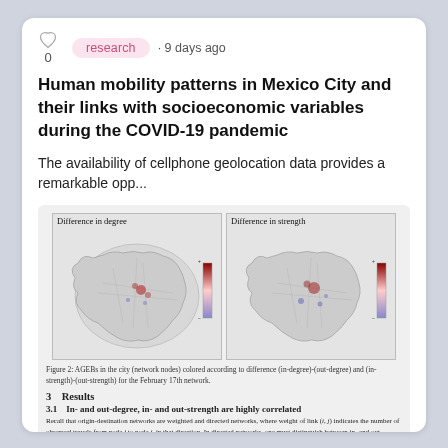research · 9 days ago
Human mobility patterns in Mexico City and their links with socioeconomic variables during the COVID-19 pandemic
The availability of cellphone geolocation data provides a remarkable opp...
[Figure (illustration): Two side-by-side maps of Mexico City network nodes colored according to difference (in-degree)-(out-degree) and (in-strength)-(out-strength) for the February 17th network. Left map titled 'Difference in degree', right map titled 'Difference in strength'. Each map has a red-to-blue colorbar on the right side.]
Figure 2: AGEBs in the city (network nodes) colored according to difference (in-degree)-(out-degree) and (in-strength)-(out-strength) for the February 17th network.
3   Results
3.1   In- and out-degree, in- and out-strength are highly correlated
Recall that origin-destination networks are weighted and directed networks, where weight of link (i, j) indicates the number of observed travels from node i to node j, in that direction. In directed networks, one must distinguish between in- and out-degree, and in- and out-strength, arising a natural question: are these in and out metrics correlated in these networks? For each network we computed the linear correlation coefficients between in-degree and out-degree, and between in-strength and out-strength. For all 366 days, we found all correlations coefficients above 0.95 for degree, and above 0.99 for strength. Additionally, we fitted linear models in-degree ~ out-degree and in-strength ~ out-strength. In all cases we found determination coefficients (R²) above 0.99. For the vast majority of cases, in and out metrics are essentially the same, except for anomalous